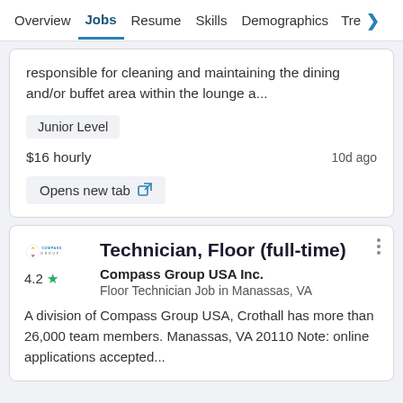Overview  Jobs  Resume  Skills  Demographics  Tre>
responsible for cleaning and maintaining the dining and/or buffet area within the lounge a...
Junior Level
$16 hourly
10d ago
Opens new tab
Technician, Floor (full-time)
Compass Group USA Inc.
Floor Technician Job in Manassas, VA
4.2
A division of Compass Group USA, Crothall has more than 26,000 team members. Manassas, VA 20110 Note: online applications accepted...